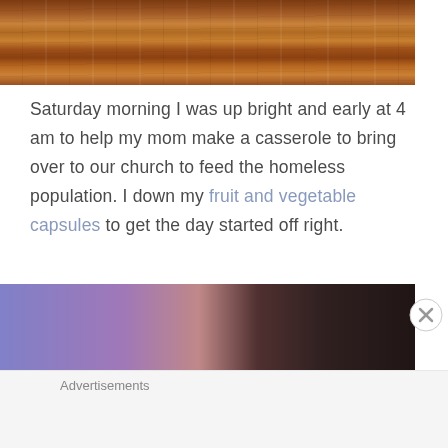[Figure (photo): Wood floor texture — horizontal oak planks in warm brown tones]
Saturday morning I was up bright and early at 4 am to help my mom make a casserole to bring over to our church to feed the homeless population. I down my fruit and vegetable capsules to get the day started off right.
[Figure (photo): Blurred photo with purple/pink gradient on left half and dark brown on right half]
Advertisements